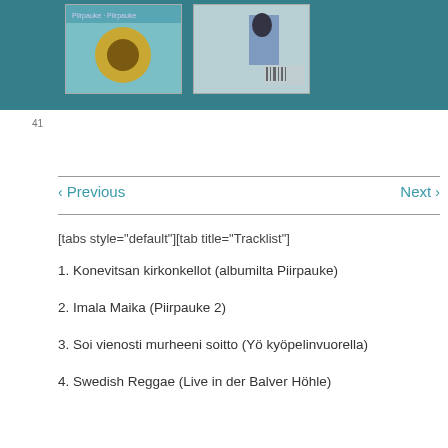[Figure (photo): Top banner with teal background showing two album cover images side by side]
‹ Previous    Next ›
[tabs style="default"][tab title="Tracklist"]
1. Konevitsan kirkonkellot (albumilta Piirpauke)
2. Imala Maika (Piirpauke 2)
3. Soi vienosti murheeni soitto (Yö kyöpelinvuorella)
4. Swedish Reggae (Live in der Balver Höhle)